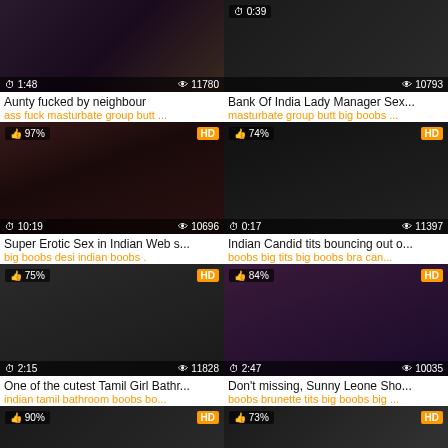[Figure (screenshot): Video thumbnail - Aunty fucked by neighbour, duration 1:48, views 11780]
Aunty fucked by neighbour
ass fuck masturbate group butt ...
[Figure (screenshot): Video thumbnail - Bank Of India Lady Manager Sex..., duration 0:39, views 10793]
Bank Of India Lady Manager Sex...
masturbate group butt big boobs...
[Figure (screenshot): Video thumbnail - Super Erotic Sex in Indian Web s..., 97% rating, HD, duration 10:19, views 10696]
Super Erotic Sex in Indian Web s...
big boobs desi indian boobs .
[Figure (screenshot): Video thumbnail - Indian Candid tits bouncing out o..., 74% rating, HD, duration 0:17, views 11397]
Indian Candid tits bouncing out o...
boobs big tits big boobs bra can...
[Figure (screenshot): Video thumbnail - One of the cutest Tamil Girl Bathr..., 75% rating, HD, duration 2:15, views 11828]
One of the cutest Tamil Girl Bathr...
indian tamil bathroom boobs bo...
[Figure (screenshot): Video thumbnail - Don't missing, Sunny Leone Sho..., 84% rating, HD, duration 2:47, views 10035]
Don't missing, Sunny Leone Sho...
boobs brunette tits big boobs big ...
[Figure (screenshot): Video thumbnail partial - 90% rating, HD]
[Figure (screenshot): Video thumbnail partial - 73% rating, HD]